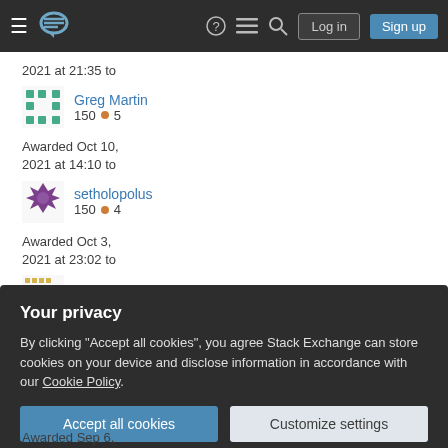Stack Exchange navigation bar with Log in and Sign up buttons
2021 at 21:35 to
Greg Martin
150 ● 5
Awarded Oct 10, 2021 at 14:10 to
setholopolus
150 ● 4
Awarded Oct 3, 2021 at 23:02 to
Wasp
Your privacy
By clicking "Accept all cookies", you agree Stack Exchange can store cookies on your device and disclose information in accordance with our Cookie Policy.
Accept all cookies   Customize settings
Awarded Sep 6,